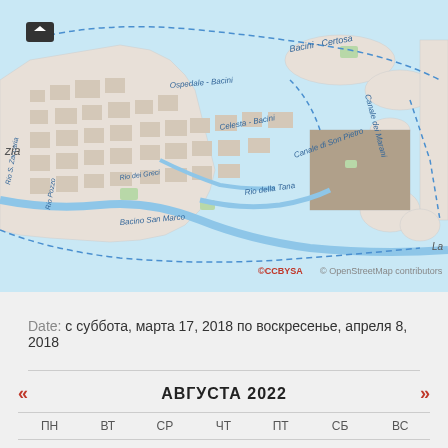[Figure (map): OpenStreetMap of Venice (Venezia) area showing canals including Bacini-Certosa, Ospedale-Bacini, Celesta-Bacini, Canale dei Marani, Canale di Son Pietro, Rio della Tana, Bacino San Marco, Rio dei Greci, Rio Polo; copyright CCBYSA © OpenStreetMap contributors]
Date: с суббота, марта 17, 2018 по воскресенье, апреля 8, 2018
| ПН | ВТ | СР | ЧТ | ПТ | СБ | ВС |
| --- | --- | --- | --- | --- | --- | --- |